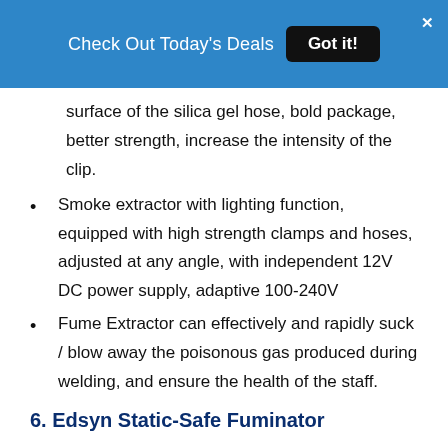Check Out Today's Deals  Got it!
surface of the silica gel hose, bold package, better strength, increase the intensity of the clip.
Smoke extractor with lighting function, equipped with high strength clamps and hoses, adjusted at any angle, with independent 12V DC power supply, adaptive 100-240V
Fume Extractor can effectively and rapidly suck / blow away the poisonous gas produced during welding, and ensure the health of the staff.
6. Edsyn Static-Safe Fuminator